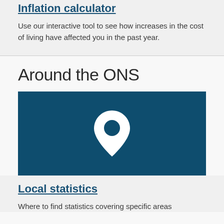Inflation calculator
Use our interactive tool to see how increases in the cost of living have affected you in the past year.
Around the ONS
[Figure (illustration): Dark teal/navy blue banner image with a white location pin/map marker icon centered on it]
Local statistics
Where to find statistics covering specific areas